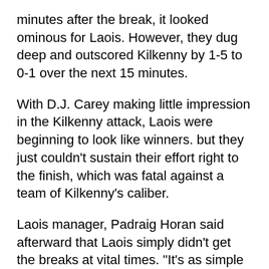minutes after the break, it looked ominous for Laois. However, they dug deep and outscored Kilkenny by 1-5 to 0-1 over the next 15 minutes.
With D.J. Carey making little impression in the Kilkenny attack, Laois were beginning to look like winners. but they just couldn't sustain their effort right to the finish, which was fatal against a team of Kilkenny's caliber.
Laois manager, Padraig Horan said afterward that Laois simply didn't get the breaks at vital times. "It's as simple as that. You need a bit of luck and we didn't get it," he said. Not even the most partisan Kilkenny supporter would argue against him.
Galway 1-16, Leitrim 0-5